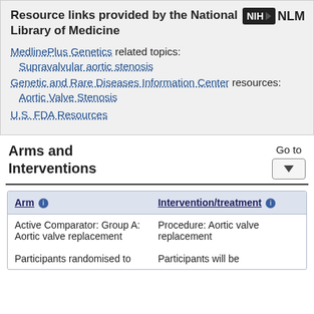Resource links provided by the National Library of Medicine
MedlinePlus Genetics related topics:
Supravalvular aortic stenosis
Genetic and Rare Diseases Information Center resources:
Aortic Valve Stenosis
U.S. FDA Resources
Arms and Interventions
| Arm | Intervention/treatment |
| --- | --- |
| Active Comparator: Group A: Aortic valve replacement

Participants randomised to | Procedure: Aortic valve replacement

Participants will be |